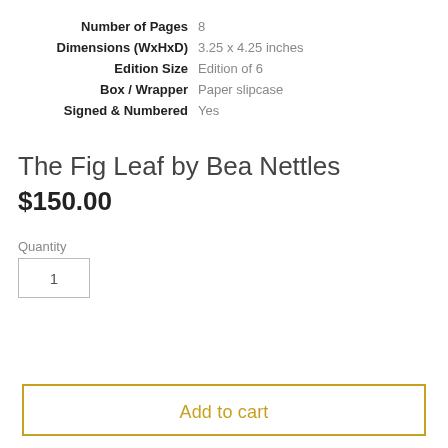| Number of Pages | 8 |
| Dimensions (WxHxD) | 3.25 x 4.25 inches |
| Edition Size | Edition of 6 |
| Box / Wrapper | Paper slipcase |
| Signed & Numbered | Yes |
The Fig Leaf by Bea Nettles
$150.00
Quantity
1
Add to cart